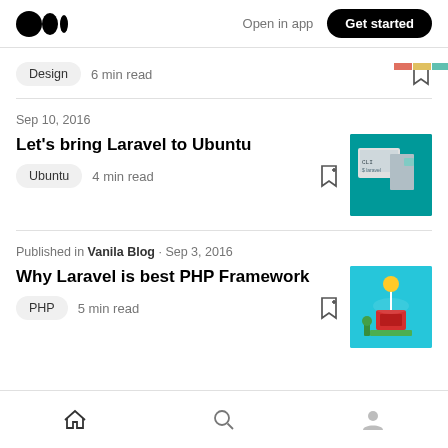Medium logo | Open in app | Get started
Design  6 min read
Sep 10, 2016
Let's bring Laravel to Ubuntu
Ubuntu  4 min read
Published in Vanila Blog · Sep 3, 2016
Why Laravel is best PHP Framework
PHP  5 min read
Home | Search | Profile